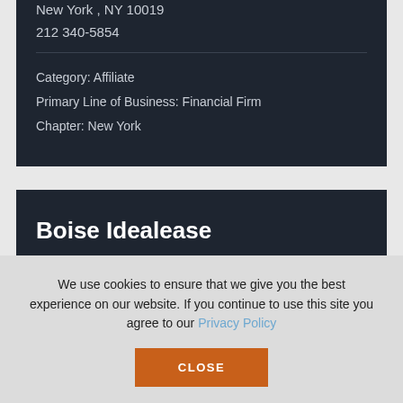New York , NY  10019
212 340-5854
Category: Affiliate
Primary Line of Business: Financial Firm
Chapter: New York
Boise Idealease
778 W. Amity Road...
We use cookies to ensure that we give you the best experience on our website. If you continue to use this site you agree to our Privacy Policy
CLOSE